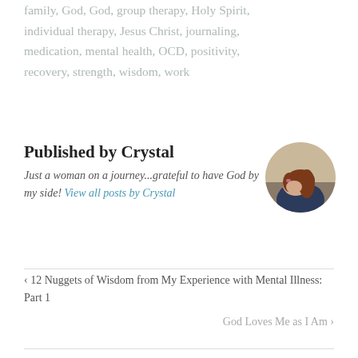family, God, God, group therapy, Holy Spirit, individual therapy, Jesus Christ, journaling, medication, mental health, OCD, positivity, recovery, strength, wisdom, work
Published by Crystal
Just a woman on a journey...grateful to have God by my side! View all posts by Crystal
[Figure (photo): Circular avatar photo of a woman with reddish-brown hair, appearing to rest her head on her arms]
< 12 Nuggets of Wisdom from My Experience with Mental Illness: Part 1
God Loves Me as I Am >